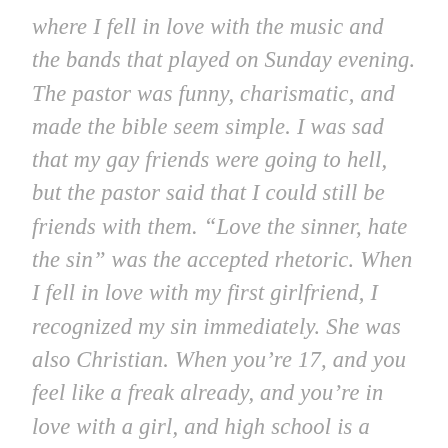where I fell in love with the music and the bands that played on Sunday evening. The pastor was funny, charismatic, and made the bible seem simple. I was sad that my gay friends were going to hell, but the pastor said that I could still be friends with them. “Love the sinner, hate the sin” was the accepted rhetoric. When I fell in love with my first girlfriend, I recognized my sin immediately. She was also Christian. When you’re 17, and you feel like a freak already, and you’re in love with a girl, and high school is a battlefield, you can’t stand to let another part of your life down. I remember